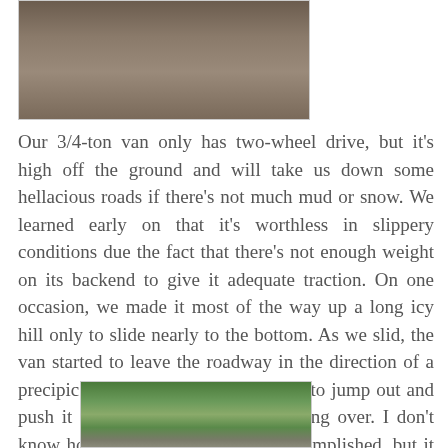[Figure (photo): A dirt/gravel road or ground surface viewed from above, brownish-gray in color]
Our 3/4-ton van only has two-wheel drive, but it’s high off the ground and will take us down some hellacious roads if there’s not much mud or snow. We learned early on that it’s worthless in slippery conditions due the fact that there’s not enough weight on its backend to give it adequate traction. On one occasion, we made it most of the way up a long icy hill only to slide nearly to the bottom. As we slid, the van started to leave the roadway in the direction of a precipice making it necessary for me to jump out and push it sideways to keep it from going over. I don't know how much good I actually accomplished, but it was all I could do. Peggy kidded me about abandoning her and the dogs, but if the van had fallen, it would have taken me with it.
[Figure (photo): A stone structure or ruins partially obscured by green trees and foliage]